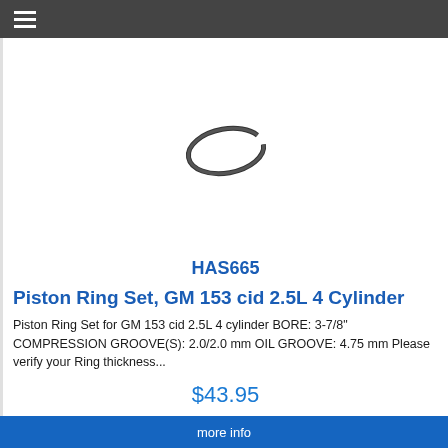☰
[Figure (illustration): A piston ring shown from an angled top-down perspective, appearing as a dark elliptical ring/oval shape against a white background.]
HAS665
Piston Ring Set, GM 153 cid 2.5L 4 Cylinder
Piston Ring Set for GM 153 cid 2.5L 4 cylinder BORE: 3-7/8" COMPRESSION GROOVE(S): 2.0/2.0 mm OIL GROOVE: 4.75 mm Please verify your Ring thickness...
$43.95
more info